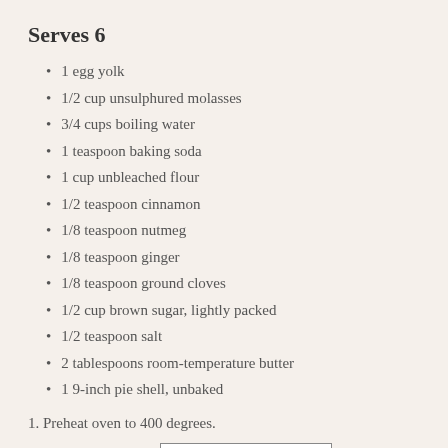Serves 6
1 egg yolk
1/2 cup unsulphured molasses
3/4 cups boiling water
1 teaspoon baking soda
1 cup unbleached flour
1/2 teaspoon cinnamon
1/8 teaspoon nutmeg
1/8 teaspoon ginger
1/8 teaspoon ground cloves
1/2 cup brown sugar, lightly packed
1/2 teaspoon salt
2 tablespoons room-temperature butter
1 9-inch pie shell, unbaked
1. Preheat oven to 400 degrees.
2. Beat the egg yolk